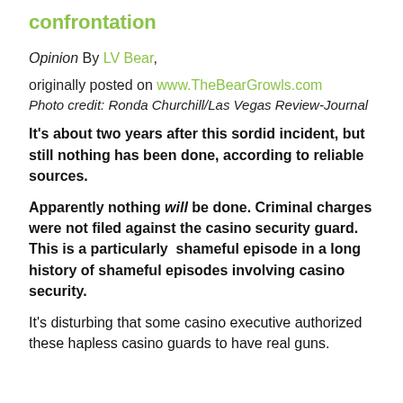confrontation
Opinion By LV Bear,
originally posted on www.TheBearGrowls.com
Photo credit: Ronda Churchill/Las Vegas Review-Journal
It's about two years after this sordid incident, but still nothing has been done, according to reliable sources.
Apparently nothing will be done. Criminal charges were not filed against the casino security guard. This is a particularly shameful episode in a long history of shameful episodes involving casino security.
It's disturbing that some casino executive authorized these hapless casino guards to have real guns.